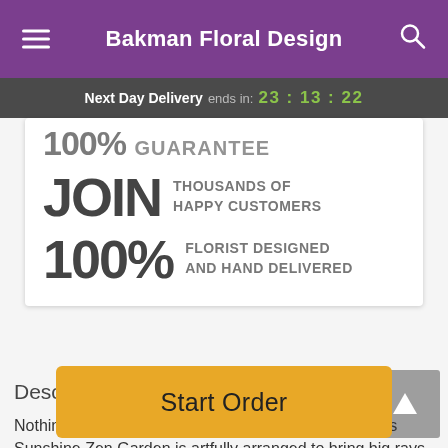Bakman Floral Design
Next Day Delivery ends in: 23:13:22
100% GUARANTEE
JOIN THOUSANDS OF HAPPY CUSTOMERS
100% FLORIST DESIGNED AND HAND DELIVERED
Description
Nothing but clear skies ahead! Calm and cheerful, this Sunshine Zen Garden is artfully arranged to bring big rays
Start Order